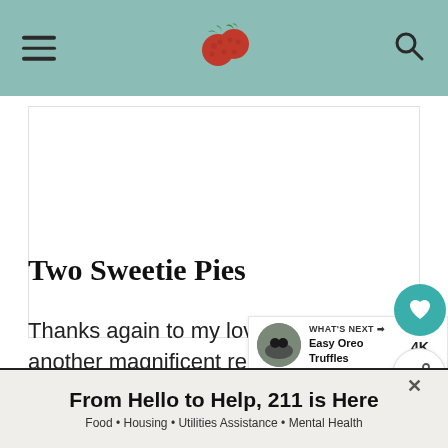Two Sweetie Pies blog header with logo (raspberries), hamburger menu, and search icon
[Figure (illustration): White rectangular image placeholder area]
Two Sweetie Pies
Thanks again to my lovely friend, Danie another magnificent recipe! She is my go-to bl will love wh
[Figure (infographic): WHAT'S NEXT callout with thumbnail image showing 'Easy Oreo Truffles']
[Figure (infographic): Ad banner: From Hello to Help, 211 is Here. Food · Housing · Utilities Assistance · Mental Health]